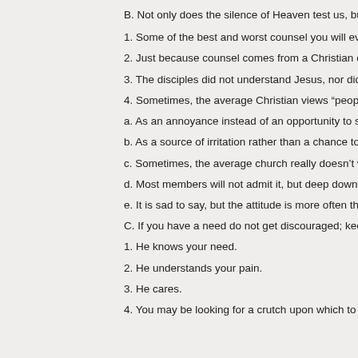B. Not only does the silence of Heaven test us, but so does the indifference...
1. Some of the best and worst counsel you will ever receive will be from oth...
2. Just because counsel comes from a Christian does not mean that it is fro...
3. The disciples did not understand Jesus, nor did they have Heaven's pers...
4. Sometimes, the average Christian views “people problems”
a. As an annoyance instead of an opportunity to serve.
b. As a source of irritation rather than a chance to Glorify God.
c. Sometimes, the average church really doesn’t want to grow or to reach o...
d. Most members will not admit it, but deep down inside they don’t want mo...
e. It is sad to say, but the attitude is more often than not, “send them away.”
C. If you have a need do not get discouraged; keep going to Jesus.
1. He knows your need.
2. He understands your pain.
3. He cares.
4. You may be looking for a crutch upon which to lean, but Jesus is the “Ro...